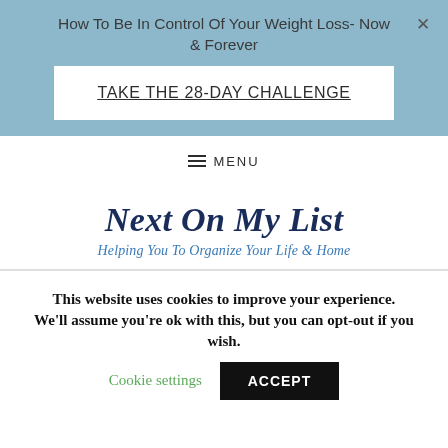How To Be In Control Of Your Weight Loss- Now & Forever
TAKE THE 28-DAY CHALLENGE
MENU
Next On My List
Helping You To Organize Your Life & Home
This website uses cookies to improve your experience. We'll assume you're ok with this, but you can opt-out if you wish.
Cookie settings
ACCEPT